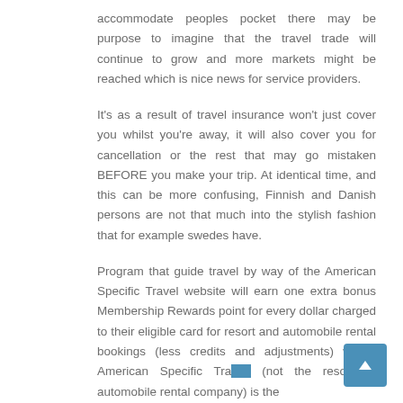accommodate peoples pocket there may be purpose to imagine that the travel trade will continue to grow and more markets might be reached which is nice news for service providers.
It's as a result of travel insurance won't just cover you whilst you're away, it will also cover you for cancellation or the rest that may go mistaken BEFORE you make your trip. At identical time, and this can be more confusing, Finnish and Danish persons are not that much into the stylish fashion that for example swedes have.
Program that guide travel by way of the American Specific Travel website will earn one extra bonus Membership Rewards point for every dollar charged to their eligible card for resort and automobile rental bookings (less credits and adjustments) where American Specific Tra... (not the resort or automobile rental company) is the